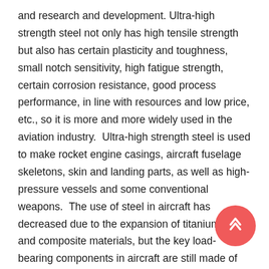and research and development. Ultra-high strength steel not only has high tensile strength but also has certain plasticity and toughness, small notch sensitivity, high fatigue strength, certain corrosion resistance, good process performance, in line with resources and low price, etc., so it is more and more widely used in the aviation industry.  Ultra-high strength steel is used to make rocket engine casings, aircraft fuselage skeletons, skin and landing parts, as well as high-pressure vessels and some conventional weapons.  The use of steel in aircraft has decreased due to the expansion of titanium alloys and composite materials, but the key load-bearing components in aircraft are still made of ultra-high-strength steel. At present, the international representative of the low alloy ultra-high-strength steel 300M, is a typical aircraft landing gear steel. In addition, low alloy ultra-high-strength steel D6A typical solid rocket engine housing material. The development trend of ultra-high-strength steel is to improve toughness and corrosion resistance while ensuring ultra-high strength.